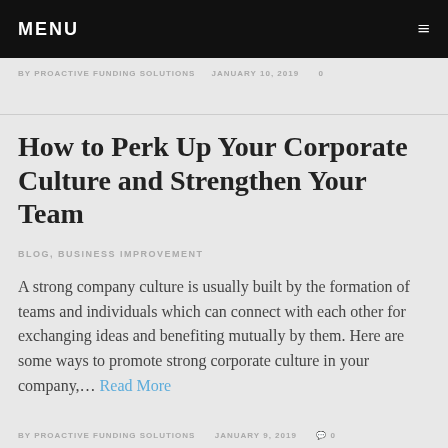MENU
BY PROACTIVE FUNDING SOLUTIONS   JANUARY 10, 2019   0
How to Perk Up Your Corporate Culture and Strengthen Your Team
BLOG, BUSINESS IMPROVEMENT
A strong company culture is usually built by the formation of teams and individuals which can connect with each other for exchanging ideas and benefiting mutually by them. Here are some ways to promote strong corporate culture in your company,… Read More
BY PROACTIVE FUNDING SOLUTIONS   JANUARY 9, 2019   0